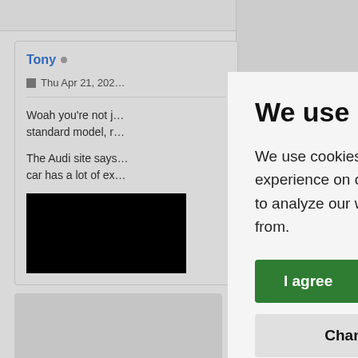Tony
Thu Apr 21, 202…
Woah you're not j… standard model, r…
The Audi site says… car has a lot of ex…
We use cookies
We use cookies and other tracking technologies to improve your browsing experience on our website, to show you personalized content and targeted ads, to analyze our website traffic, and to understand where our visitors are coming from.
I agree
Change my preferences